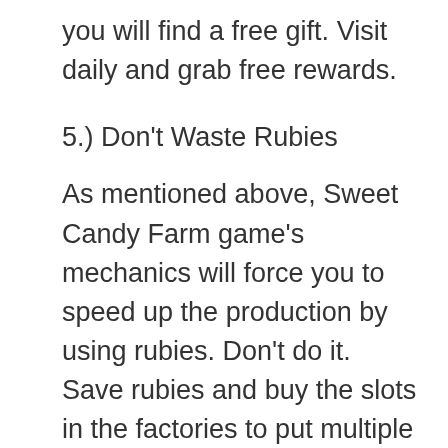you will find a free gift. Visit daily and grab free rewards.
5.) Don't Waste Rubies
As mentioned above, Sweet Candy Farm game's mechanics will force you to speed up the production by using rubies. Don't do it. Save rubies and buy the slots in the factories to put multiple items at a time. On the other hand, spending this premium item to speed up the production would be a waste.
6.) Watch The Video Ad To Get Free Rubies